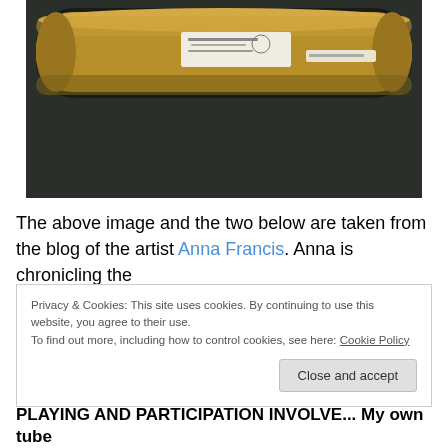[Figure (photo): A cardboard mailing tube lying on a dark surface. The tube is tan/kraft colored and has a white label with some printing on it.]
The above image and the two below are taken from the blog of the artist Anna Francis. Anna is chronicling the
Privacy & Cookies: This site uses cookies. By continuing to use this website, you agree to their use.
To find out more, including how to control cookies, see here: Cookie Policy
PLAYING AND PARTICIPATION INVOLVE... My own tube